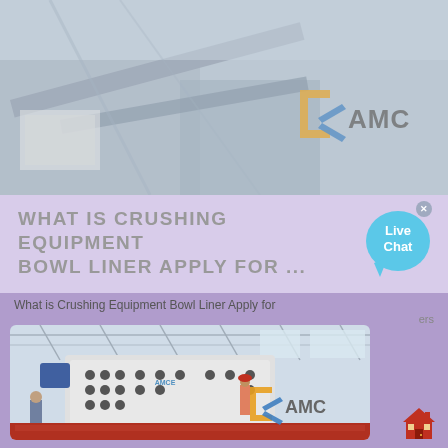[Figure (photo): Industrial crushing/screening equipment in a factory or outdoor setting, with AMC logo overlay]
WHAT IS CRUSHING EQUIPMENT BOWL LINER APPLY FOR ...
[Figure (photo): Large industrial impact crusher or similar machine inside a factory warehouse with crane, workers nearby, AMC logo overlay]
What is Crushing Equipment Bowl Liner Apply for
ers